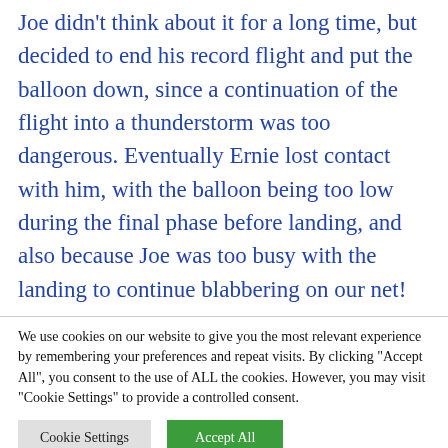Joe didn't think about it for a long time, but decided to end his record flight and put the balloon down, since a continuation of the flight into a thunderstorm was too dangerous. Eventually Ernie lost contact with him, with the balloon being too low during the final phase before landing, and also because Joe was too busy with the landing to continue blabbering on our net!
We use cookies on our website to give you the most relevant experience by remembering your preferences and repeat visits. By clicking "Accept All", you consent to the use of ALL the cookies. However, you may visit "Cookie Settings" to provide a controlled consent.